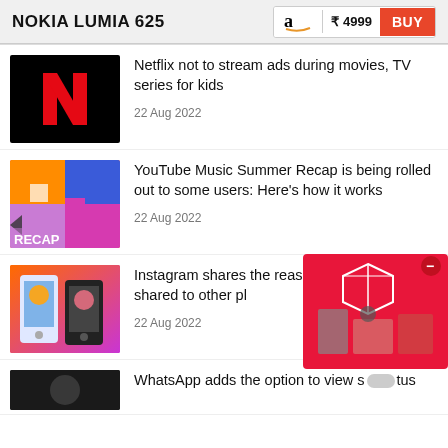NOKIA LUMIA 625 ₹ 4999 BUY
Netflix not to stream ads during movies, TV series for kids — 22 Aug 2022
YouTube Music Summer Recap is being rolled out to some users: Here's how it works — 22 Aug 2022
Instagram shares the reason couldn't be shared to other pl... — 22 Aug 2022
WhatsApp adds the option to view s...tus
[Figure (other): Amazon ad overlay showing kitchen appliances on red background]